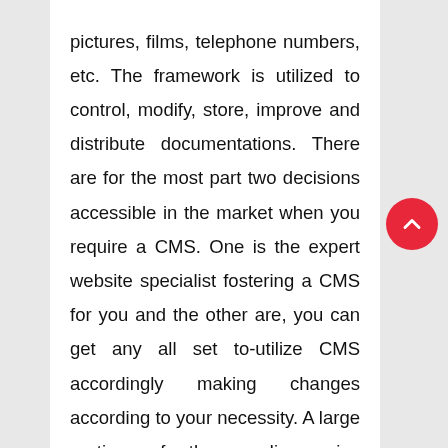pictures, films, telephone numbers, etc. The framework is utilized to control, modify, store, improve and distribute documentations. There are for the most part two decisions accessible in the market when you require a CMS. One is the expert website specialist fostering a CMS for you and the other are, you can get any all set to-utilize CMS accordingly making changes according to your necessity. A large portion of the medium size ventures and independent company, pick prepared to-involve Content